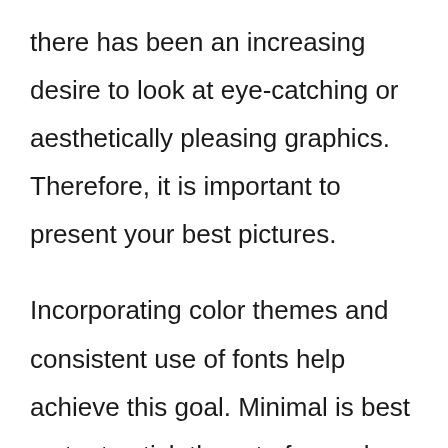there has been an increasing desire to look at eye-catching or aesthetically pleasing graphics. Therefore, it is important to present your best pictures.
Incorporating color themes and consistent use of fonts help achieve this goal. Minimal is best so try to stick three to four colors within a matching palette. Consistently utilizing no more than three different fonts will help build aesthetic appeal as well.